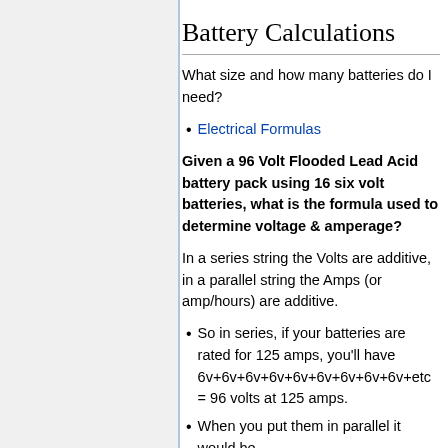Battery Calculations
What size and how many batteries do I need?
Electrical Formulas
Given a 96 Volt Flooded Lead Acid battery pack using 16 six volt batteries, what is the formula used to determine voltage & amperage?
In a series string the Volts are additive, in a parallel string the Amps (or amp/hours) are additive.
So in series, if your batteries are rated for 125 amps, you'll have 6v+6v+6v+6v+6v+6v+6v+6v+6v+etc = 96 volts at 125 amps.
When you put them in parallel it would be